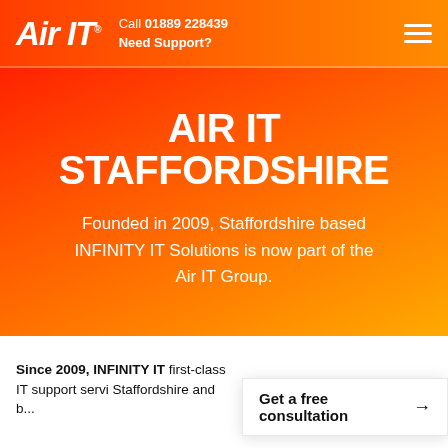Air IT. Call 01889 228439 Need Support?
AIR IT STAFFORDSHIRE
Founded in 2009, Staffordshire based INFINITY IT Solutions is now part of the Air IT Group.
Since 2009, INFINITY IT first-class IT support servi Staffordshire and b...
Get a free consultation →